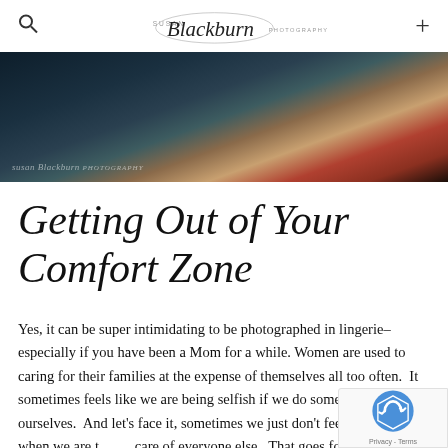Susan Blackburn Photography
[Figure (photo): Boudoir photography hero image showing a woman in red lingerie against dark background, with Susan Blackburn Photography watermark]
Getting Out of Your Comfort Zone
Yes, it can be super intimidating to be photographed in lingerie–especially if you have been a Mom for a while. Women are used to caring for their families at the expense of themselves all too often. It sometimes feels like we are being selfish if we do something for ourselves. And let's face it, sometimes we just don't feel all that sexy when we are taking care of everyone else. That goes for Career Women as well–